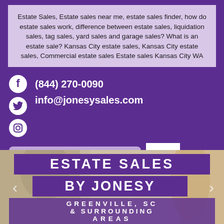Estate Sales, Estate sales near me, estate sales finder, how do estate sales work, difference between estate sales, liquidation sales, tag sales, yard sales and garage sales? What is an estate sale? Kansas City estate sales, Kansas City estate sales, Commercial estate sales Estate sales Kansas City WA
(844) 270-0090
info@jonesysales.com
SUBMIT SALE INQUIRY
[Figure (photo): Estate sales by Jonesy banner over blurred photo background showing people at a sale. Text reads: ESTATE SALES BY JONESY GREENVILLE, SC & SURROUNDING AREAS]
ESTATE SALES BY JONESY GREENVILLE, SC & SURROUNDING AREAS